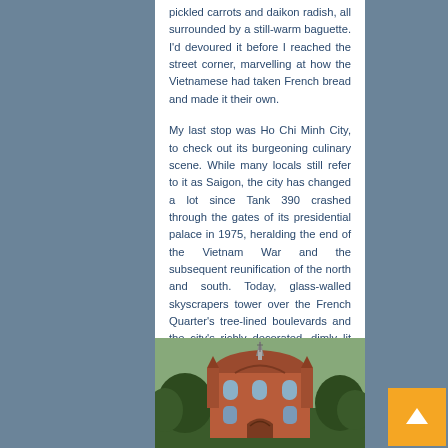pickled carrots and daikon radish, all surrounded by a still-warm baguette. I'd devoured it before I reached the street corner, marvelling at how the Vietnamese had taken French bread and made it their own.
My last stop was Ho Chi Minh City, to check out its burgeoning culinary scene. While many locals still refer to it as Saigon, the city has changed a lot since Tank 390 crashed through the gates of its presidential palace in 1975, heralding the end of the Vietnam War and the subsequent reunification of the north and south. Today, glass-walled skyscrapers tower over the French Quarter's tree-lined boulevards and the city's richly decorated, dimly lit pagodas, where incense smoke swirls in shafts of sunlight.
[Figure (photo): Photograph of a red-brick building with arched windows, ornate roofline, and a spire, surrounded by trees — appears to be a church or cathedral in Ho Chi Minh City (Notre-Dame Cathedral Basilica of Saigon).]